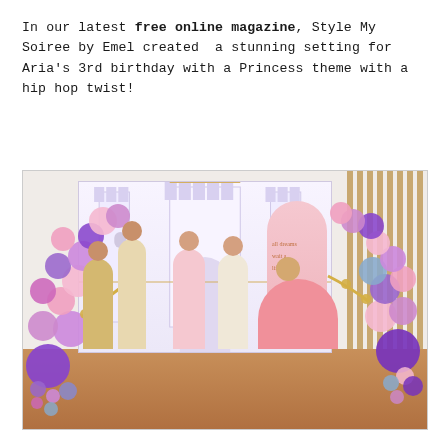In our latest free online magazine, Style My Soiree by Emel created a stunning setting for Aria's 3rd birthday with a Princess theme with a hip hop twist!
[Figure (photo): Party photo showing a princess-themed birthday setting with a white castle backdrop, colourful balloon garlands (purple, pink, gold, teal) arching on both sides, a pink arch panel on the right, and four young girls in party dresses standing with a woman in a full pink gown seated on the floor in front.]